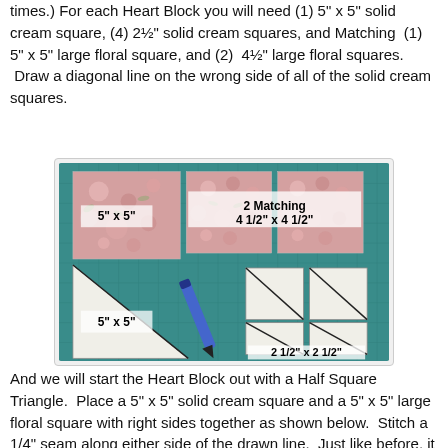times.) For each Heart Block you will need (1) 5" x 5" solid cream square, (4) 2½" solid cream squares, and Matching (1) 5" x 5" large floral square, and (2) 4½" large floral squares. Draw a diagonal line on the wrong side of all of the solid cream squares.
[Figure (photo): Photo showing fabric pieces for a Heart Block quilt project on a green cutting mat. Top row shows three floral fabric squares labeled '5" x 5"' and '2 Matching 4 1/2" x 4 1/2"'. Bottom row shows cream/white squares with diagonal lines drawn on them, labeled '5" x 5"' and '2 1/2" x 2 1/2"', along with a blue marker.]
And we will start the Heart Block out with a Half Square Triangle. Place a 5" x 5" solid cream square and a 5" x 5" large floral square with right sides together as shown below. Stitch a 1/4" seam along either side of the drawn line. Just like before, it will save time to chain stitch all of the seams on